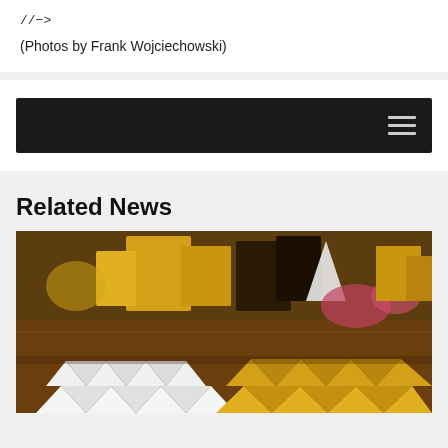//->
(Photos by Frank Wojciechowski)
[Figure (screenshot): Dark navigation bar with hamburger menu icon on the right side]
Related News
[Figure (photo): Origami paper folding scene with white and gold/yellow folded paper structures arranged on a wooden surface, with colorful blurred items in the background]